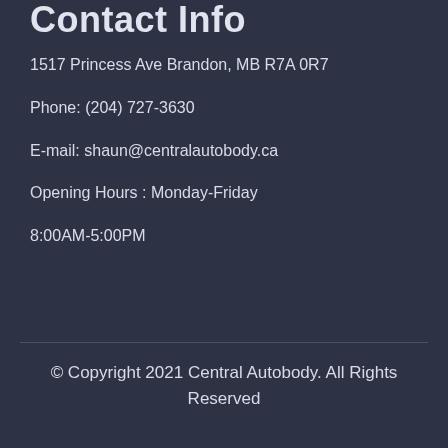Contact Info
1517 Princess Ave Brandon, MB R7A 0R7
Phone: (204) 727-3630
E-mail: shaun@centralautobody.ca
Opening Hours : Monday-Friday
8:00AM-5:00PM
© Copyright 2021 Central Autobody. All Rights Reserved